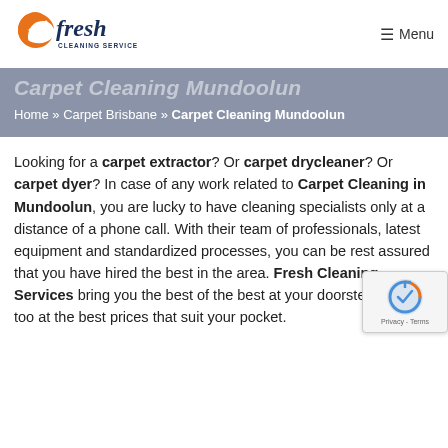Fresh Cleaning Services — Menu
Carpet Cleaning Mundoolun
Home » Carpet Brisbane » Carpet Cleaning Mundoolun
Looking for a carpet extractor? Or carpet drycleaner? Or carpet dyer? In case of any work related to Carpet Cleaning in Mundoolun, you are lucky to have cleaning specialists only at a distance of a phone call. With their team of professionals, latest equipment and standardized processes, you can be rest assured that you have hired the best in the area. Fresh Cleaning Services bring you the best of the best at your doorstep and that too at the best prices that suit your pocket.